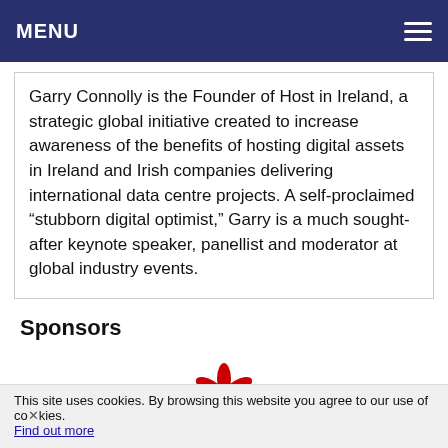MENU
Garry Connolly is the Founder of Host in Ireland, a strategic global initiative created to increase awareness of the benefits of hosting digital assets in Ireland and Irish companies delivering international data centre projects. A self-proclaimed “stubborn digital optimist,” Garry is a much sought-after keynote speaker, panellist and moderator at global industry events.
Sponsors
[Figure (logo): Huawei logo — red flower/petal icon above the word HUAWEI in bold black text]
This site uses cookies. By browsing this website you agree to our use of cookies. Find out more